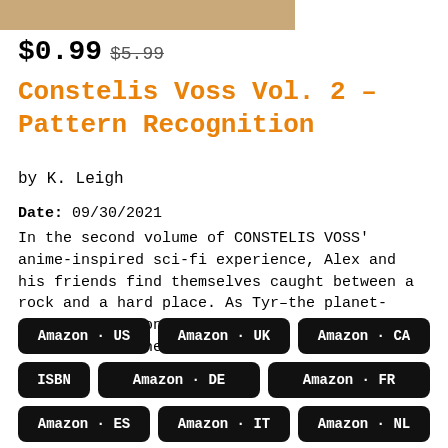[Figure (photo): Partial book cover image strip at top of page]
$0.99 $5.99
Constelis Voss Vol. 2 – Pattern Recognition
by K. Leigh
Date: 09/30/2021
In the second volume of CONSTELIS VOSS' anime-inspired sci-fi experience, Alex and his friends find themselves caught between a rock and a hard place. As Tyr–the planet-sized ship's conveniently very evil villain–starts in on the…
Amazon - US
Amazon - UK
Amazon - CA
ISBN
Amazon - DE
Amazon - FR
Amazon - ES
Amazon - IT
Amazon - NL